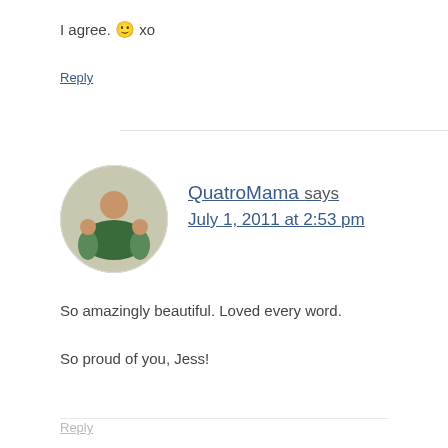I agree. 🙂 xo
Reply
[Figure (photo): Round avatar photo of QuatroMama with children]
QuatroMama says
July 1, 2011 at 2:53 pm
So amazingly beautiful. Loved every word.
So proud of you, Jess!
Reply